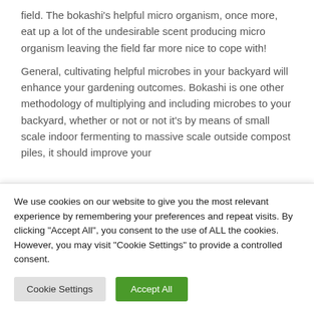field. The bokashi's helpful micro organism, once more, eat up a lot of the undesirable scent producing micro organism leaving the field far more nice to cope with!
General, cultivating helpful microbes in your backyard will enhance your gardening outcomes. Bokashi is one other methodology of multiplying and including microbes to your backyard, whether or not or not it's by means of small scale indoor fermenting to massive scale outside compost piles, it should improve your
We use cookies on our website to give you the most relevant experience by remembering your preferences and repeat visits. By clicking "Accept All", you consent to the use of ALL the cookies. However, you may visit "Cookie Settings" to provide a controlled consent.